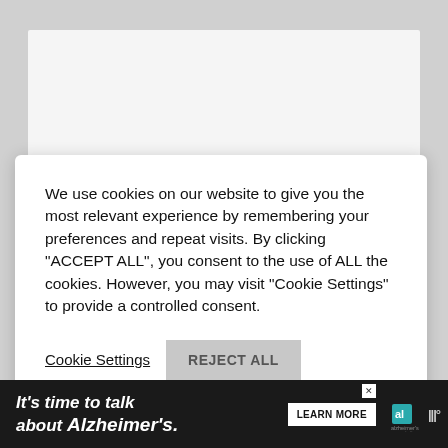We use cookies on our website to give you the most relevant experience by remembering your preferences and repeat visits. By clicking “ACCEPT ALL”, you consent to the use of ALL the cookies. However, you may visit “Cookie Settings” to provide a controlled consent.
Cookie Settings
REJECT ALL
ACCEPT ALL
[Figure (other): Heart icon button (teal circle with white heart) with like count 585 and share icon below]
[Figure (other): Advertisement banner: It's time to talk about Alzheimer's. LEARN MORE button. Alzheimer's Association logo. WW logo. Close button X.]